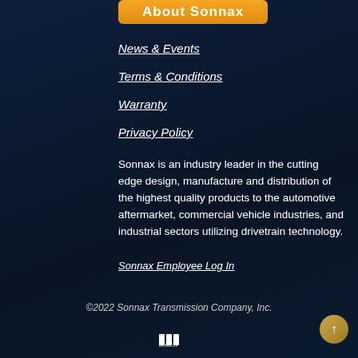[Figure (other): Orange rounded button with text 'About Sonnax']
News & Events
Terms & Conditions
Warranty
Privacy Policy
Sonnax is an industry leader in the cutting edge design, manufacture and distribution of the highest quality products to the automotive aftermarket, commercial vehicle industries, and industrial sectors utilizing drivetrain technology.
Sonnax Employee Log In
©2022 Sonnax Transmission Company, Inc.
[Figure (logo): Marmon logo and gold scroll-to-top button]